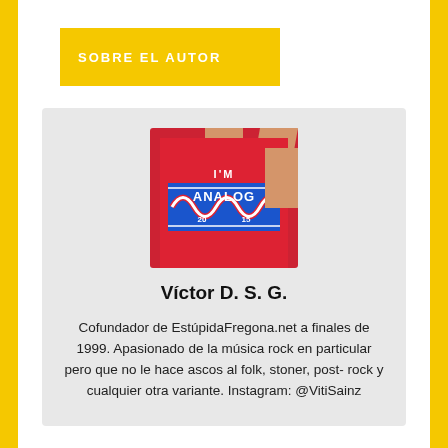SOBRE EL AUTOR
[Figure (photo): Author photo: person wearing a red 'I'M ANALOG' t-shirt with a blue wave graphic]
Víctor D. S. G.
Cofundador de EstúpidaFregona.net a finales de 1999. Apasionado de la música rock en particular pero que no le hace ascos al folk, stoner, post-rock y cualquier otra variante. Instagram: @VitiSainz